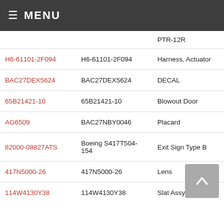≡ MENU
| Part Number (Link) | Part Number | Description |
| --- | --- | --- |
| (partial) PTR-12R |  |  |
| H6-61101-2F094 | H6-61101-2F094 | Harness, Actuator |
| BAC27DEX5624 | BAC27DEX5624 | DECAL |
| 65B21421-10 | 65B21421-10 | Blowout Door |
| AG6509 | BAC27NBY0046 | Placard |
| 82000-08827ATS | Boeing S417T504-154 | Exit Sign Type B |
| 417N5000-26 | 417N5000-26 | Lens |
| 114W4130Y38 | 114W4130Y38 | Slat Assy-Final No |